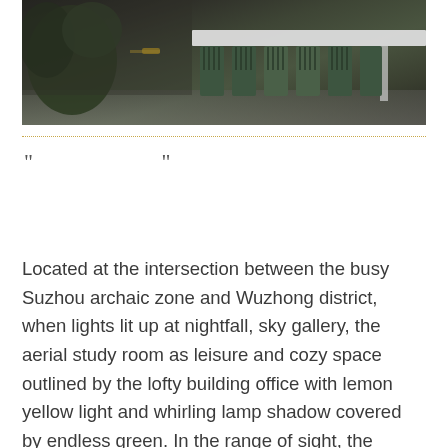[Figure (photo): Interior photo of a modern office or café space showing a row of dark green spindle-back chairs lined up along a white counter/bar, with moody ambient lighting and large tropical plants in the background on the left.]
" "
Located at the intersection between the busy Suzhou archaic zone and Wuzhong district, when lights lit up at nightfall, sky gallery, the aerial study room as leisure and cozy space outlined by the lofty building office with lemon yellow light and whirling lamp shadow covered by endless green. In the range of sight, the project overlooks the charming history and